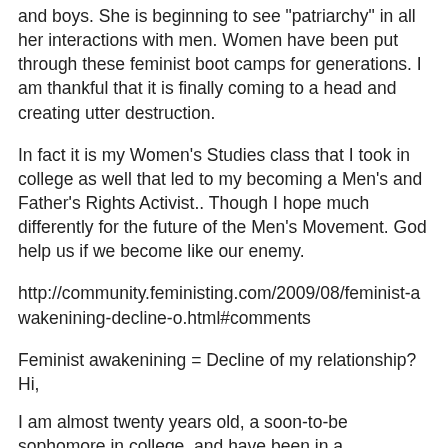and boys. She is beginning to see "patriarchy" in all her interactions with men. Women have been put through these feminist boot camps for generations. I am thankful that it is finally coming to a head and creating utter destruction.
In fact it is my Women's Studies class that I took in college as well that led to my becoming a Men's and Father's Rights Activist.. Though I hope much differently for the future of the Men's Movement. God help us if we become like our enemy.
http://community.feministing.com/2009/08/feminist-awakenining-decline-o.html#comments
Feminist awakenining = Decline of my relationship?
Hi,
I am almost twenty years old, a soon-to-be sophomore in college, and have been in a monogamous relationship for the past three years (and am now living with my boyfriend). This past year, thanks to the liberal musings of my boyfriend and this lovely blog, I have taken a great interest in breaking down society... especially the representation and treatment of